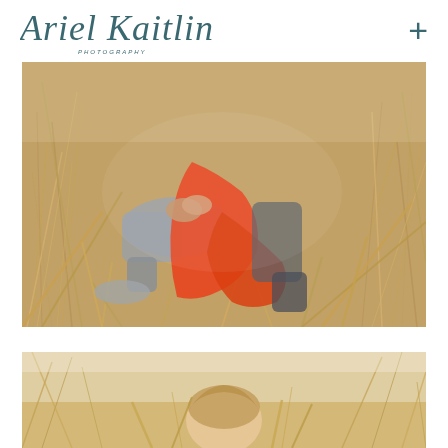Ariel Kaitlin Photography
[Figure (photo): A couple sitting in tall golden grass fields. The woman wears a flowing orange/red dress, the man wears grey trousers. Their hands are clasped together. Shot from above showing their legs and torsos.]
[Figure (photo): A child with light brown hair standing or sitting in tall golden grass field, photographed from behind/above. Soft bokeh background with grass stalks.]